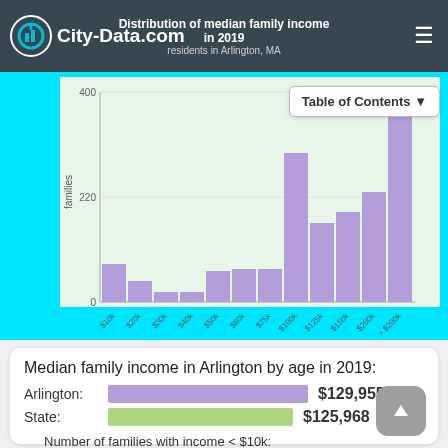Distribution of median family income in 2019 - residents in Arlington, MA
[Figure (histogram): Distribution of median family income in 2019]
Median family income in Arlington by age in 2019:
Arlington: $129,955
State: $125,968
Number of families with income < $10k:
Arlington: 4.6% (73)
Massachusetts: 2.3% (2,527)